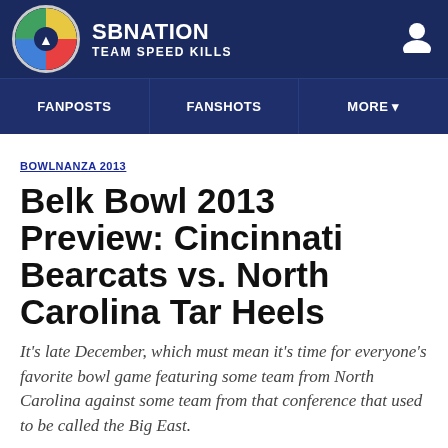SBNATION TEAM SPEED KILLS
FANPOSTS | FANSHOTS | MORE
BOWLNANZA 2013
Belk Bowl 2013 Preview: Cincinnati Bearcats vs. North Carolina Tar Heels
It's late December, which must mean it's time for everyone's favorite bowl game featuring some team from North Carolina against some team from that conference that used to be called the Big East.